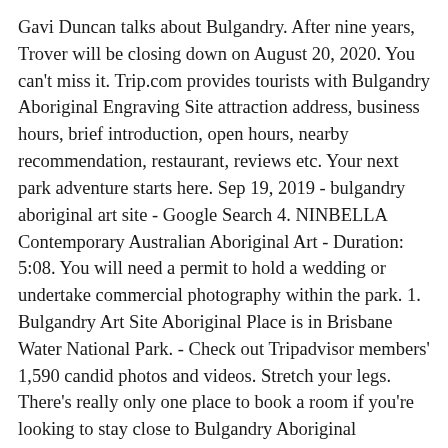Gavi Duncan talks about Bulgandry. After nine years, Trover will be closing down on August 20, 2020. You can't miss it. Trip.com provides tourists with Bulgandry Aboriginal Engraving Site attraction address, business hours, brief introduction, open hours, nearby recommendation, restaurant, reviews etc. Your next park adventure starts here. Sep 19, 2019 - bulgandry aboriginal art site - Google Search 4. NINBELLA Contemporary Australian Aboriginal Art - Duration: 5:08. You will need a permit to hold a wedding or undertake commercial photography within the park. 1. Bulgandry Art Site Aboriginal Place is in Brisbane Water National Park. - Check out Tripadvisor members' 1,590 candid photos and videos. Stretch your legs. There's really only one place to book a room if you're looking to stay close to Bulgandry Aboriginal Engraving Site, and that is the Bella Vista Motel. the end of the walking track. Bulgandry The Bulgandry aboriginal rock engraving site has been given a car park, a nice footpath and a wooden boardwalk around the main area. Baiame Cave, Milbrodale Aboriginal sites of New South Wales consist of a large number of places in the Australian state of New South Wales where it is still possible to see visible signs of the activities and culture of the Australian Aboriginal tribes that once inhabited the area and